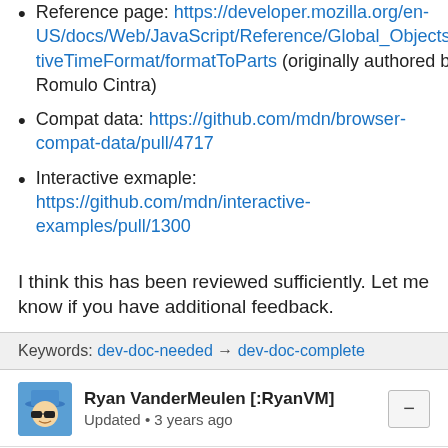Reference page: https://developer.mozilla.org/en-US/docs/Web/JavaScript/Reference/Global_Objects/RelativeTimeFormat/formatToParts (originally authored by Romulo Cintra)
Compat data: https://github.com/mdn/browser-compat-data/pull/4717
Interactive exmaple: https://github.com/mdn/interactive-examples/pull/1300
I think this has been reviewed sufficiently. Let me know if you have additional feedback.
Keywords: dev-doc-needed → dev-doc-complete
Ryan VanderMeulen [:RyanVM]
Updated • 3 years ago
status-firefox63: affected → wontfix